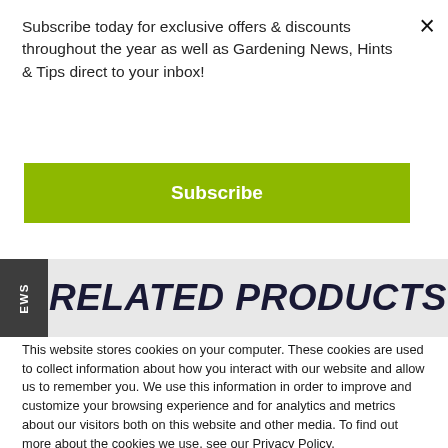Subscribe today for exclusive offers & discounts throughout the year as well as Gardening News, Hints & Tips direct to your inbox!
Subscribe
WS
RELATED PRODUCTS
This website stores cookies on your computer. These cookies are used to collect information about how you interact with our website and allow us to remember you. We use this information in order to improve and customize your browsing experience and for analytics and metrics about our visitors both on this website and other media. To find out more about the cookies we use, see our Privacy Policy.
If you decline, your information won't be tracked when you visit this website. A single cookie will be used in your browser to remember your preference not to be tracked.
Accept
Decline